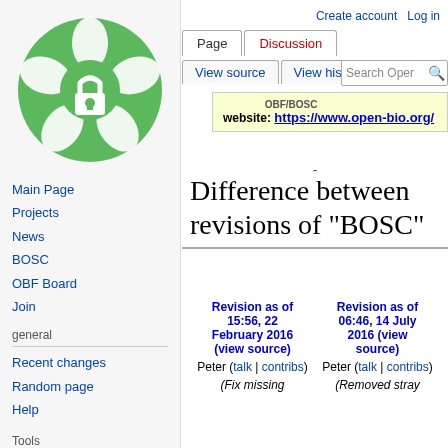[Figure (logo): OBF Open Bioinformatics Foundation circular green logo with white interlocking circles and lock icon]
Main Page
Projects
News
BOSC
OBF Board
Join
general
Recent changes
Random page
Help
Tools
What links here
Create account  Log in
Page  Discussion  View source  View history  Search Open
website: https://www.open-bio.org/
-
Difference between revisions of "BOSC"
| Revision as of 15:56, 22 February 2016 (view source) | Revision as of 06:46, 14 July 2016 (view source) |
| --- | --- |
| Peter (talk | contribs) | Peter (talk | contribs) |
| (Fix missing | (Removed stray |